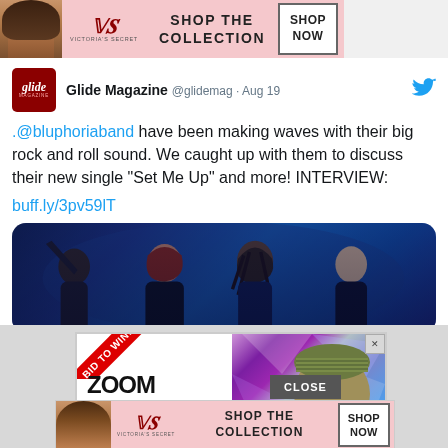[Figure (screenshot): Victoria's Secret advertisement banner at top with model, VS logo, 'SHOP THE COLLECTION' text and 'SHOP NOW' button]
[Figure (screenshot): Tweet from Glide Magazine (@glidemag Aug 19) about @bluphoriaband interview with link buff.ly/3pv59lT and band photo]
[Figure (screenshot): Advertisement banner: BID TO WIN ribbon, ZOOM w/ BEST-SELLING text, person with knit hat on colorful background, CLOSE button]
[Figure (screenshot): Victoria's Secret advertisement banner at bottom with model, VS logo, 'SHOP THE COLLECTION' text and 'SHOP NOW' button]